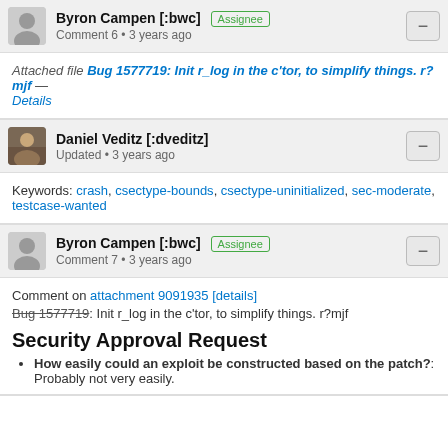Byron Campen [:bwc] Assignee
Comment 6 • 3 years ago
Attached file Bug 1577719: Init r_log in the c'tor, to simplify things. r?mjf — Details
Daniel Veditz [:dveditz]
Updated • 3 years ago
Keywords: crash, csectype-bounds, csectype-uninitialized, sec-moderate, testcase-wanted
Byron Campen [:bwc] Assignee
Comment 7 • 3 years ago
Comment on attachment 9091935 [details]
Bug 1577719: Init r_log in the c'tor, to simplify things. r?mjf
Security Approval Request
How easily could an exploit be constructed based on the patch?: Probably not very easily.